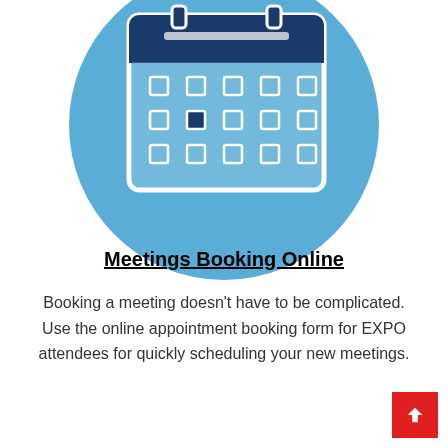[Figure (illustration): A blue circle containing a calendar icon with a dark blue header bar and grid of date squares, one square highlighted in dark blue]
Meetings Booking Online
Booking a meeting doesn't have to be complicated. Use the online appointment booking form for EXPO attendees for quickly scheduling your new meetings.